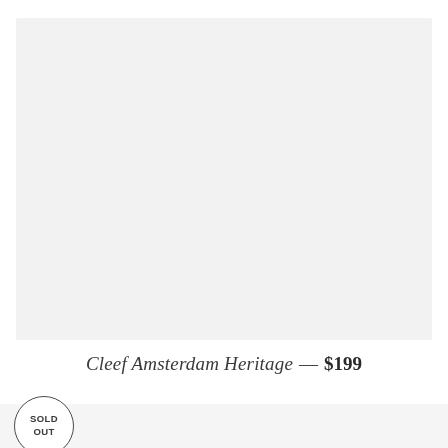[Figure (photo): Product image placeholder with light grey background for Cleef Amsterdam Heritage item]
Cleef Amsterdam Heritage — $199
SOLD OUT